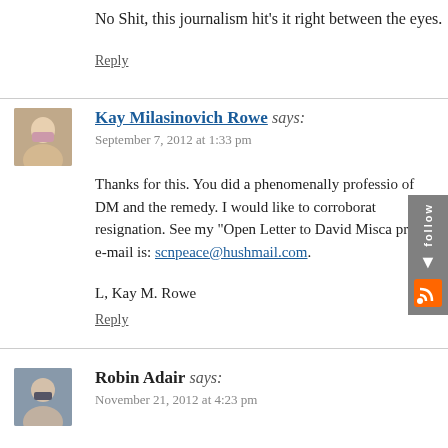No Shit, this journalism hit’s it right between the eyes.
Reply
Kay Milasinovich Rowe says:
September 7, 2012 at 1:33 pm
Thanks for this. You did a phenomenally professio of DM and the remedy. I would like to corroborat resignation. See my “Open Letter to David Misca private e-mail is: scnpeace@hushmail.com.
L, Kay M. Rowe
Reply
Robin Adair says:
November 21, 2012 at 4:23 pm